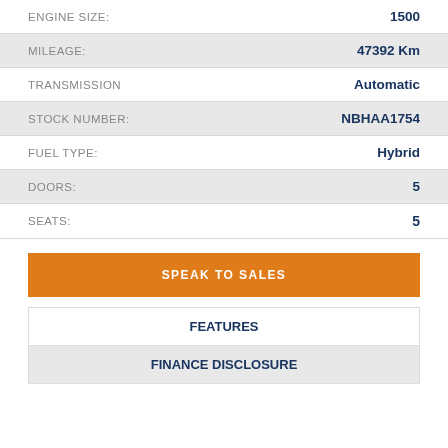| Specification | Value |
| --- | --- |
| ENGINE SIZE: | 1500 |
| MILEAGE: | 47392 Km |
| TRANSMISSION | Automatic |
| STOCK NUMBER: | NBHAA1754 |
| FUEL TYPE: | Hybrid |
| DOORS: | 5 |
| SEATS: | 5 |
SPEAK TO SALES
FEATURES
FINANCE DISCLOSURE